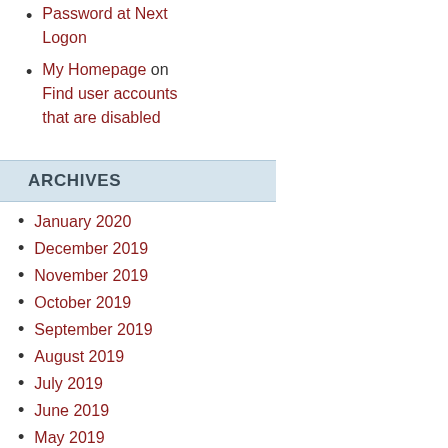Password at Next Logon
My Homepage on Find user accounts that are disabled
ARCHIVES
January 2020
December 2019
November 2019
October 2019
September 2019
August 2019
July 2019
June 2019
May 2019